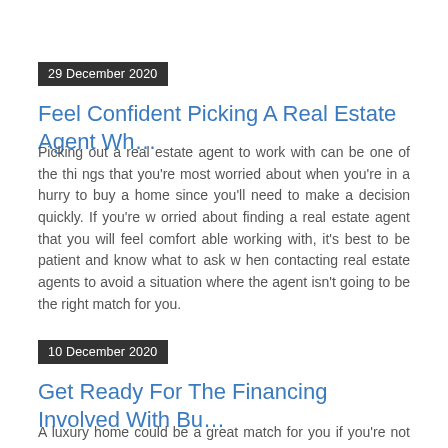29 December 2020
Feel Confident Picking A Real Estate Agent Wh…
Picking out a real estate agent to work with can be one of the things that you're most worried about when you're in a hurry to buy a home since you'll need to make a decision quickly. If you're worried about finding a real estate agent that you will feel comfortable working with, it's best to be patient and know what to ask when contacting real estate agents to avoid a situation where the agent isn't going to be the right match for you.
10 December 2020
Get Ready For The Financing Involved With Bu…
A luxury home could be a great match for you if you're not interested in older homes that could use a lot of remodeling work or if you want some of the higher-end amenities and finishes that luxury homes offer. If you're curious about buying a luxury home but will need a mortgage to do so, there are several steps you'll need to take to make sure that you're ready for the financing that's